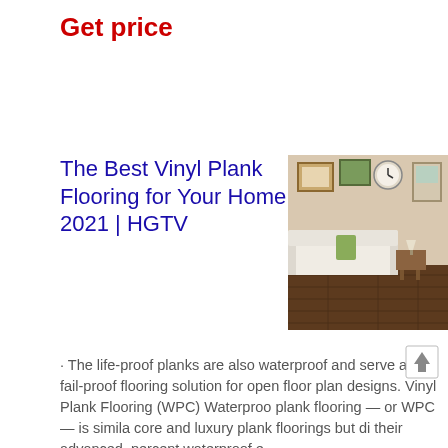Get price
The Best Vinyl Plank Flooring for Your Home 2021 | HGTV
[Figure (photo): Interior room photo showing a living space with vinyl plank flooring, white sofa, wall art, and wooden furniture]
· The life-proof planks are also waterproof and serve as a fail-proof flooring solution for open floor plan designs. Vinyl Plank Flooring (WPC) Waterproof plank flooring — or WPC — is similar to core and luxury plank floorings but di their advanced, percent waterproof e